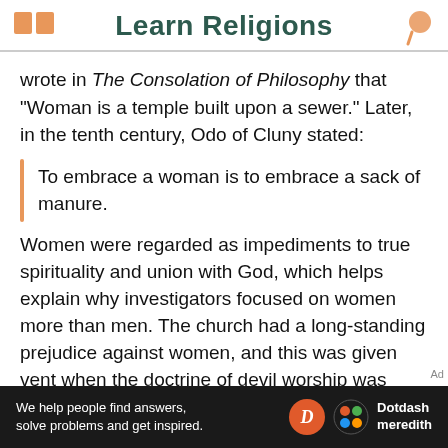Learn Religions
wrote in The Consolation of Philosophy that "Woman is a temple built upon a sewer." Later, in the tenth century, Odo of Cluny stated:
To embrace a woman is to embrace a sack of manure.
Women were regarded as impediments to true spirituality and union with God, which helps explain why investigators focused on women more than men. The church had a long-standing prejudice against women, and this was given vent when the doctrine of devil worship was emphasized as an enemy which the church had to confront and
[Figure (other): Dotdash Meredith advertisement banner with text: We help people find answers, solve problems and get inspired.]